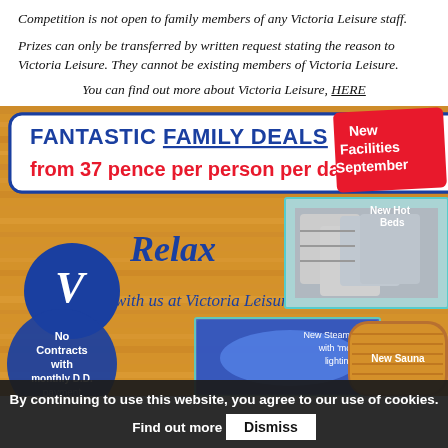Competition is not open to family members of any Victoria Leisure staff.
Prizes can only be transferred by written request stating the reason to Victoria Leisure. They cannot be existing members of Victoria Leisure.
You can find out more about Victoria Leisure, HERE
[Figure (illustration): Victoria Leisure advertisement showing 'FANTASTIC FAMILY DEALS from 37 pence per person per day', with a wood-panelled background, V Relax with us at Victoria Leisure branding, images of new hot beds, new steam room with mood lighting, new sauna, and a red badge saying New Facilities September. Blue circle with No Contracts with monthly D.D. payment.]
By continuing to use this website, you agree to our use of cookies. Find out more  Dismiss